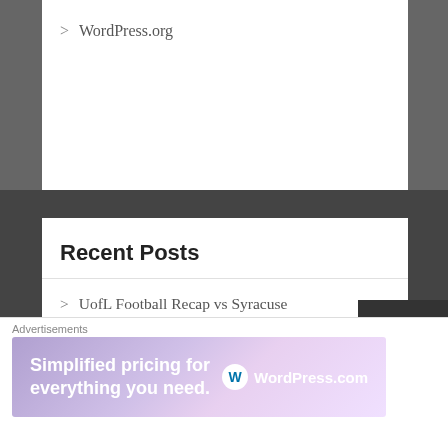> WordPress.org
Recent Posts
> UofL Football Recap vs Syracuse
> Cardinal Sports Zone Podcast Episode #139: Orange Crushe*
> Louisville vs Syracuse 2021 Condensed
Advertisements
[Figure (screenshot): WordPress.com advertisement banner: 'Simplified pricing for everything you need.' with WordPress.com logo]